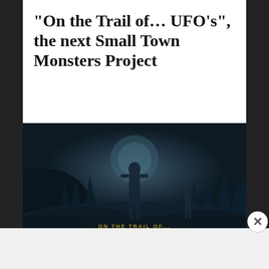“On the Trail of… UFO’s”, the next Small Town Monsters Project
[Figure (illustration): Dark atmospheric illustration showing silhouetted humanoid figures standing in a misty forest with pine trees. A central taller figure stands in the foreground against a glowing background, with another figure visible in the background. The scene has a mysterious, sci-fi/alien atmosphere in dark blue-grey tones.]
Advertisements
[Figure (infographic): Red advertisement banner for Pocket Casts app reading 'An app by listeners, for listeners.' with a phone/book graphic showing 'Distributed' text and the Pocket Casts logo on the right.]